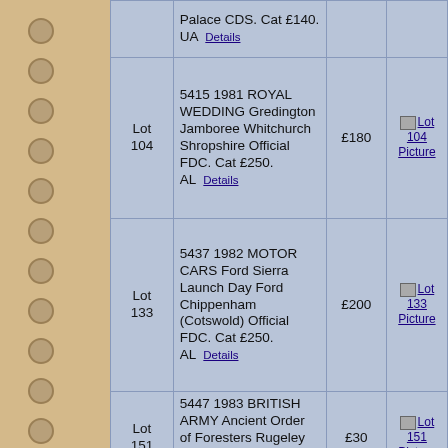| Lot | Description | Price | Picture |
| --- | --- | --- | --- |
|  | Palace CDS. Cat £140. UA  Details |  |  |
| Lot 104 | 5415 1981 ROYAL WEDDING Gredington Jamboree Whitchurch Shropshire Official FDC. Cat £250. AL  Details | £180 | Lot 104 Picture |
| Lot 133 | 5437 1982 MOTOR CARS Ford Sierra Launch Day Ford Chippenham (Cotswold) Official FDC. Cat £250. AL  Details | £200 | Lot 133 Picture |
| Lot 151 | 5447 1983 BRITISH ARMY Ancient Order of Foresters Rugeley Official FDC. Cat £60. AP  Details | £30 | Lot 151 Picture |